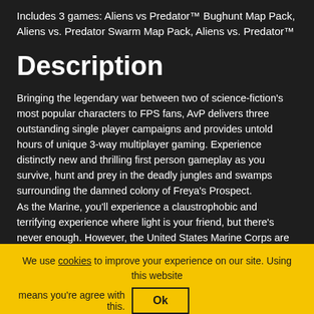Includes 3 games: Aliens vs Predator™ Bughunt Map Pack, Aliens vs. Predator Swarm Map Pack, Aliens vs. Predator™
Description
Bringing the legendary war between two of science-fiction's most popular characters to FPS fans, AvP delivers three outstanding single player campaigns and provides untold hours of unique 3-way multiplayer gaming. Experience distinctly new and thrilling first person gameplay as you survive, hunt and prey in the deadly jungles and swamps surrounding the damned colony of Freya's Prospect.
As the Marine, you'll experience a claustrophobic and terrifying experience where light is your friend, but there's never enough. However, the United States Marine Corps are humanity's last line of defense, and as such they are armed to the teeth with the very latest in high explosive and automatic weaponry.
We use cookies to improve your experience on our site. Using this website means you're agree with this. Ok